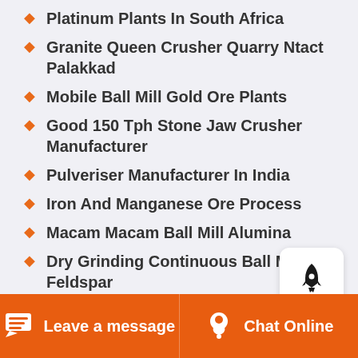Platinum Plants In South Africa
Granite Queen Crusher Quarry Ntact Palakkad
Mobile Ball Mill Gold Ore Plants
Good 150 Tph Stone Jaw Crusher Manufacturer
Pulveriser Manufacturer In India
Iron And Manganese Ore Process
Macam Macam Ball Mill Alumina
Dry Grinding Continuous Ball Mill For Feldspar
Leave a message  Chat Online